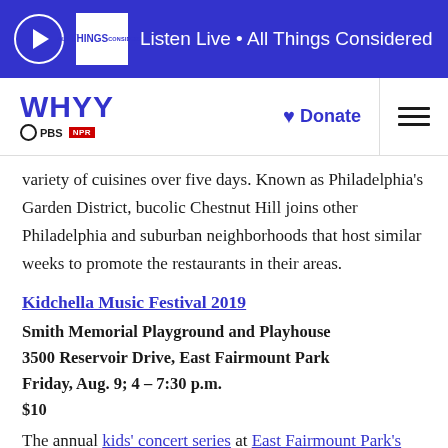Listen Live • All Things Considered
[Figure (logo): WHYY PBS NPR logo with Donate link and hamburger menu]
variety of cuisines over five days. Known as Philadelphia's Garden District, bucolic Chestnut Hill joins other Philadelphia and suburban neighborhoods that host similar weeks to promote the restaurants in their areas.
Kidchella Music Festival 2019
Smith Memorial Playground and Playhouse
3500 Reservoir Drive, East Fairmount Park
Friday, Aug. 9; 4 – 7:30 p.m.
$10
The annual kids' concert series at East Fairmount Park's Smith Playground — which hosts activities year-round to